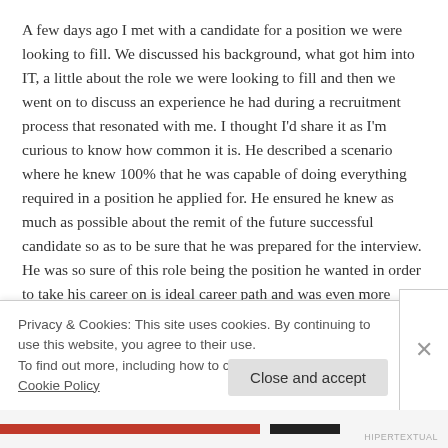A few days ago I met with a candidate for a position we were looking to fill. We discussed his background, what got him into IT, a little about the role we were looking to fill and then we went on to discuss an experience he had during a recruitment process that resonated with me. I thought I'd share it as I'm curious to know how common it is. He described a scenario where he knew 100% that he was capable of doing everything required in a position he applied for. He ensured he knew as much as possible about the remit of the future successful candidate so as to be sure that he was prepared for the interview. He was so sure of this role being the position he wanted in order to take his career on is ideal career path and was even more convinced that he was more than capable of doing it, even if it was a step up. More-
Privacy & Cookies: This site uses cookies. By continuing to use this website, you agree to their use.
To find out more, including how to control cookies, see here: Cookie Policy
Close and accept